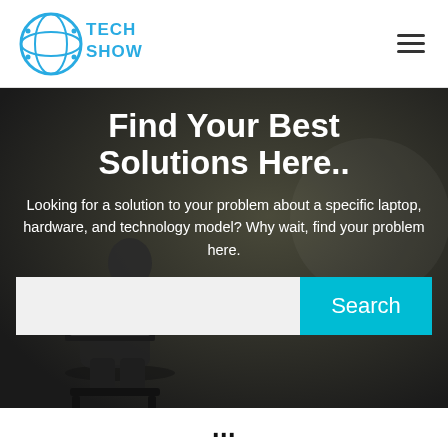TECH SHOW
[Figure (logo): Tech Show logo with circular globe/circuit icon and text 'TECH SHOW' in blue]
Find Your Best Solutions Here..
Looking for a solution to your problem about a specific laptop, hardware, and technology model? Why wait, find your problem here.
Search
...